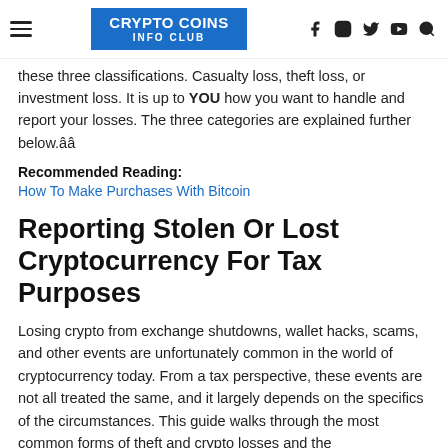CRYPTO COINS INFO CLUB
these three classifications. Casualty loss, theft loss, or investment loss. It is up to YOU how you want to handle and report your losses. The three categories are explained further below.ââ
Recommended Reading:
How To Make Purchases With Bitcoin
Reporting Stolen Or Lost Cryptocurrency For Tax Purposes
Losing crypto from exchange shutdowns, wallet hacks, scams, and other events are unfortunately common in the world of cryptocurrency today. From a tax perspective, these events are not all treated the same, and it largely depends on the specifics of the circumstances. This guide walks through the most common forms of theft and crypto losses and the